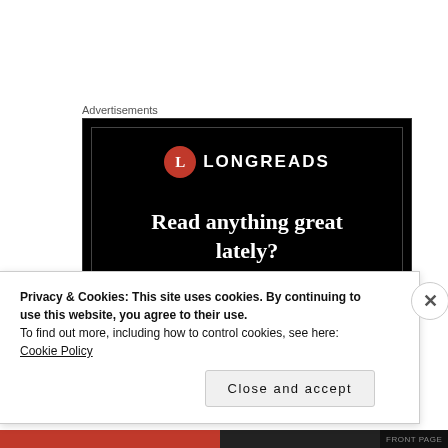Advertisements
[Figure (screenshot): Longreads advertisement banner on black background with logo and tagline 'Read anything great lately?']
I ... ... it ... the f... of the "
Privacy & Cookies: This site uses cookies. By continuing to use this website, you agree to their use.
To find out more, including how to control cookies, see here: Cookie Policy
Close and accept